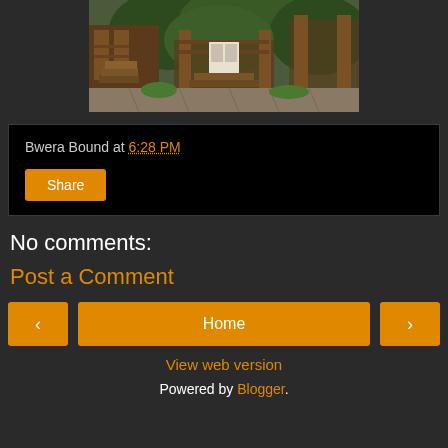[Figure (photo): Outdoor garden/yard area with wooden deck stairs, railings, stone/brick paving, and lush green trees and plants in the background]
Bwera Bound at 6:28 PM
Share
No comments:
Post a Comment
‹
Home
›
View web version
Powered by Blogger.